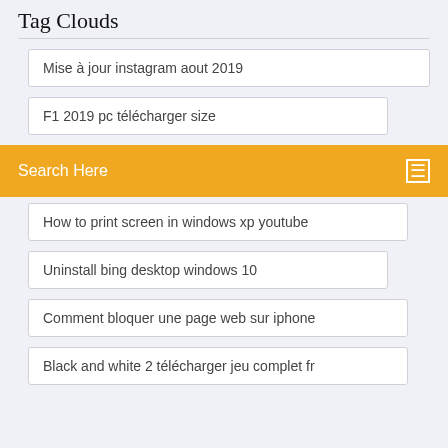Tag Clouds
Mise à jour instagram aout 2019
F1 2019 pc télécharger size
Search Here
How to print screen in windows xp youtube
Uninstall bing desktop windows 10
Comment bloquer une page web sur iphone
Black and white 2 télécharger jeu complet fr